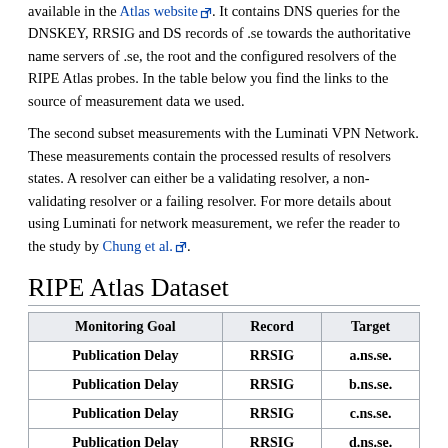available in the Atlas website. It contains DNS queries for the DNSKEY, RRSIG and DS records of .se towards the authoritative name servers of .se, the root and the configured resolvers of the RIPE Atlas probes. In the table below you find the links to the source of measurement data we used.
The second subset measurements with the Luminati VPN Network. These measurements contain the processed results of resolvers states. A resolver can either be a validating resolver, a non-validating resolver or a failing resolver. For more details about using Luminati for network measurement, we refer the reader to the study by Chung et al.
RIPE Atlas Dataset
| Monitoring Goal | Record | Target |
| --- | --- | --- |
| Publication Delay | RRSIG | a.ns.se. |
| Publication Delay | RRSIG | b.ns.se. |
| Publication Delay | RRSIG | c.ns.se. |
| Publication Delay | RRSIG | d.ns.se. |
| Publication Delay | RRSIG | e.ns.se. |
| Publication Delay | RRSIG | f.ns.se. |
| Publication Delay | RRSIG | g.ns.se. |
| Publication Delay | RRSIG | i.ns.se. |